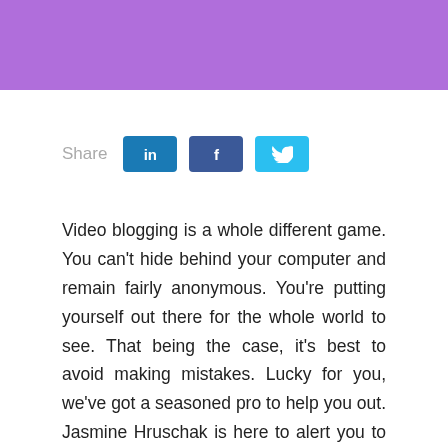[Figure (other): Purple header banner bar]
Share
Video blogging is a whole different game. You can't hide behind your computer and remain fairly anonymous. You're putting yourself out there for the whole world to see. That being the case, it's best to avoid making mistakes. Lucky for you, we've got a seasoned pro to help you out. Jasmine Hruschak is here to alert you to the mistakes you want to avoid when creating a video blog.